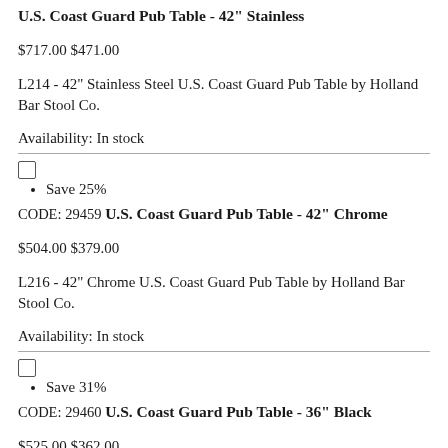U.S. Coast Guard Pub Table - 42" Stainless
$717.00 $471.00
L214 - 42" Stainless Steel U.S. Coast Guard Pub Table by Holland Bar Stool Co.
Availability: In stock
Save 25%
CODE: 29459
U.S. Coast Guard Pub Table - 42" Chrome
$504.00 $379.00
L216 - 42" Chrome U.S. Coast Guard Pub Table by Holland Bar Stool Co.
Availability: In stock
Save 31%
CODE: 29460
U.S. Coast Guard Pub Table - 36" Black
$525.00 $362.00
L217 - 36" Black Wrinkle U.S. Coast Guard Pub Table by Holland